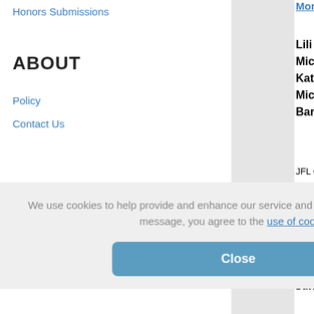Honors Submissions
ABOUT
Policy
Contact Us
Mor...
Lili M.
Mich
Kath
Mich
Bara
JFL C
1:00 P
Ana... Cou...
Holly
Davi
JFL C
1:00 P
Col...
Mad
Davi
JFL C
1:00 P
Effe... Acq...
We use cookies to help provide and enhance our service and tailor content. By closing this message, you agree to the use of cookies.
Close